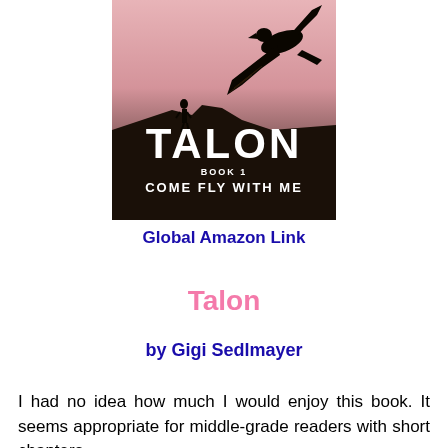[Figure (illustration): Book cover for 'Talon Book 1: Come Fly With Me' — pink/rose gradient sky background with silhouette of a large bird (condor or eagle) in top right and a small human figure standing on rocky cliffs on the left. Large white bold text reads 'TALON' and below it 'BOOK 1' and 'COME FLY WITH ME'.]
Global Amazon Link
Talon
by Gigi Sedlmayer
I had no idea how much I would enjoy this book. It seems appropriate for middle-grade readers with short chapters